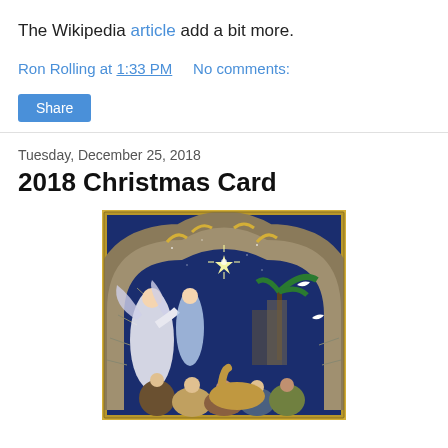The Wikipedia article add a bit more.
Ron Rolling at 1:33 PM    No comments:
Share
Tuesday, December 25, 2018
2018 Christmas Card
[Figure (illustration): Christmas nativity scene illustration with angels under a stone arch, wise men with camels, star in night sky, framed with decorative gold border.]